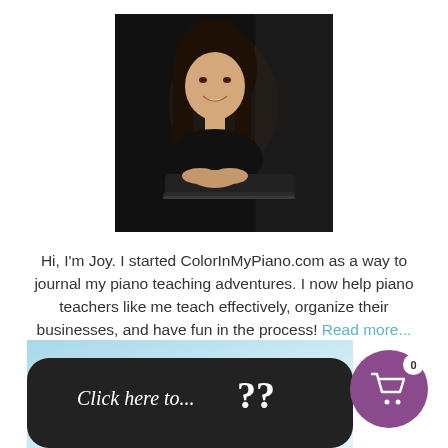[Figure (photo): Portrait of a young woman with long brown hair, smiling, leaning on a piano, dark background. Professional headshot style.]
Hi, I'm Joy. I started ColorInMyPiano.com as a way to journal my piano teaching adventures. I now help piano teachers like me teach effectively, organize their businesses, and have fun in the process! Read more...
[Figure (photo): Partial image of a dark chalkboard sign with white cursive text reading 'Click here to...' and large question marks, with a blue/light background visible at the top. A purple shopping cart icon with '0' badge is overlaid at the bottom right.]